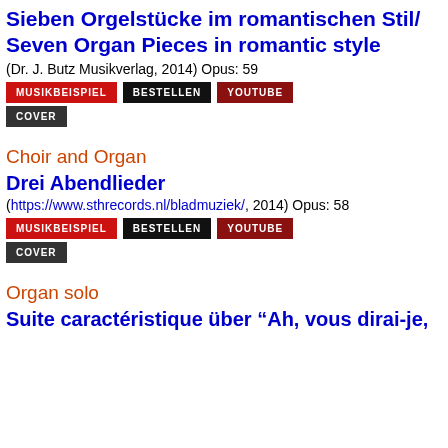Sieben Orgelstücke im romantischen Stil/ Seven Organ Pieces in romantic style
(Dr. J. Butz Musikverlag, 2014) Opus: 59
[Figure (other): Three buttons: MUSIKBEISPIEL (red), BESTELLEN (black), YOUTUBE (dark red)]
[Figure (other): One button: COVER (dark gray)]
Choir and Organ
Drei Abendlieder
(https://www.sthrecords.nl/bladmuziek/, 2014) Opus: 58
[Figure (other): Three buttons: MUSIKBEISPIEL (red), BESTELLEN (black), YOUTUBE (dark red)]
[Figure (other): One button: COVER (dark gray)]
Organ solo
Suite caractéristique über “Ah, vous dirai-je,